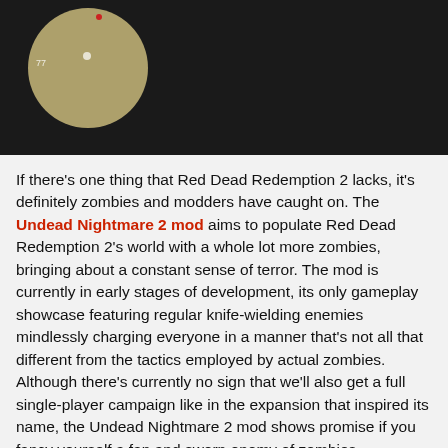[Figure (screenshot): Dark background screenshot showing a circular map/minimap with beige/tan coloring and a red pin marker, set against a dark game scene background.]
If there's one thing that Red Dead Redemption 2 lacks, it's definitely zombies and modders have caught on. The Undead Nightmare 2 mod aims to populate Red Dead Redemption 2's world with a whole lot more zombies, bringing about a constant sense of terror. The mod is currently in early stages of development, its only gameplay showcase featuring regular knife-wielding enemies mindlessly charging everyone in a manner that's not all that different from the tactics employed by actual zombies. Although there's currently no sign that we'll also get a full single-player campaign like in the expansion that inspired its name, the Undead Nightmare 2 mod shows promise if you fancy yourself a fan and sworn enemy of zombies.
Red Hot Redemption Mod
[Figure (screenshot): Dark game scene at bottom of page, partially visible.]